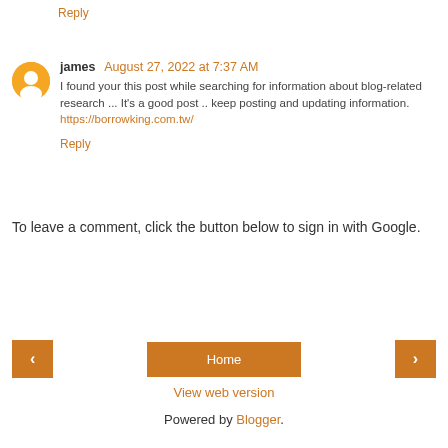Reply
james August 27, 2022 at 7:37 AM
I found your this post while searching for information about blog-related research ... It's a good post .. keep posting and updating information. https://borrowking.com.tw/
Reply
To leave a comment, click the button below to sign in with Google.
[Figure (other): Blue SIGN IN WITH GOOGLE button]
[Figure (other): Navigation bar with left arrow, Home button, right arrow]
View web version
Powered by Blogger.